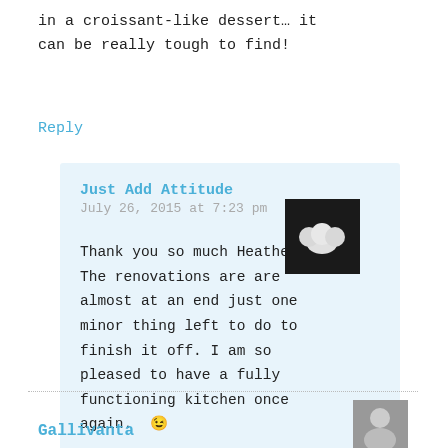in a croissant-like dessert… it can be really tough to find!
Reply
Just Add Attitude
July 26, 2015 at 7:23 pm
Thank you so much Heather. The renovations are are almost at an end just one minor thing left to do to finish it off. I am so pleased to have a fully functioning kitchen once again. 😉
Reply
Gallivanta